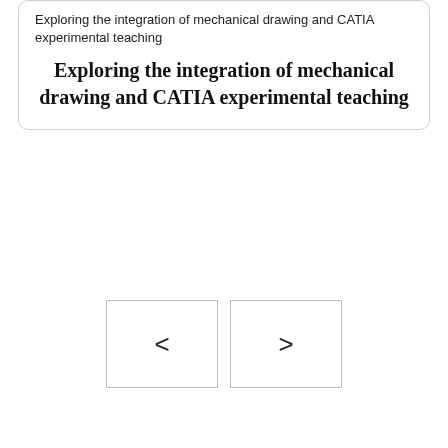Exploring the integration of mechanical drawing and CATIA experimental teaching
Exploring the integration of mechanical drawing and CATIA experimental teaching
[Figure (screenshot): Navigation buttons with left arrow < and right arrow > for browsing content]